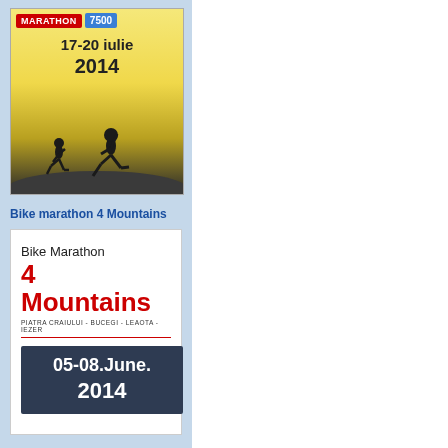[Figure (illustration): Marathon running event poster with silhouettes of two runners on a hilltop against a yellow/golden sky background. Top has red MARATHON badge and blue 7500 badge. Date shown: 17-20 iulie 2014.]
Bike marathon 4 Mountains
[Figure (illustration): Bike Marathon 4 Mountains event poster. Text: Bike Marathon in black, 4 Mountains in large red bold text, PIATRA CRAIULUI - BUCEGI - LEAOTA - IEZER in small text with red underline, and dark blue date box showing 05-08.June. 2014.]